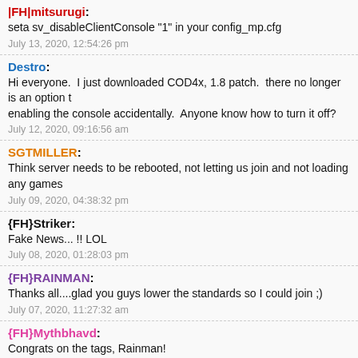|FH|mitsurugi: seta sv_disableClientConsole "1" in your config_mp.cfg — July 13, 2020, 12:54:26 pm
Destro: Hi everyone. I just downloaded COD4x, 1.8 patch. there no longer is an option t enabling the console accidentally. Anyone know how to turn it off? — July 12, 2020, 09:16:56 am
SGTMILLER: Think server needs to be rebooted, not letting us join and not loading any games — July 09, 2020, 04:38:32 pm
{FH}Striker: Fake News... !! LOL — July 08, 2020, 01:28:03 pm
{FH}RAINMAN: Thanks all....glad you guys lower the standards so I could join ;) — July 07, 2020, 11:27:32 am
{FH}Mythbhavd: Congrats on the tags, Rainman! — July 07, 2020, 09:13:40 am
{FH}PerkyFIN: Hello Rainy. Imma glad you've got your tag..finally